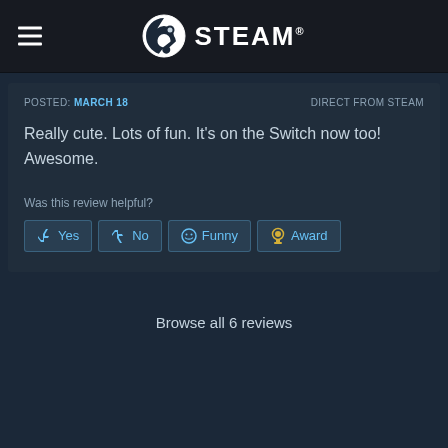STEAM
POSTED: MARCH 18   DIRECT FROM STEAM
Really cute. Lots of fun. It's on the Switch now too! Awesome.
Was this review helpful?
Yes  No  Funny  Award
Browse all 6 reviews